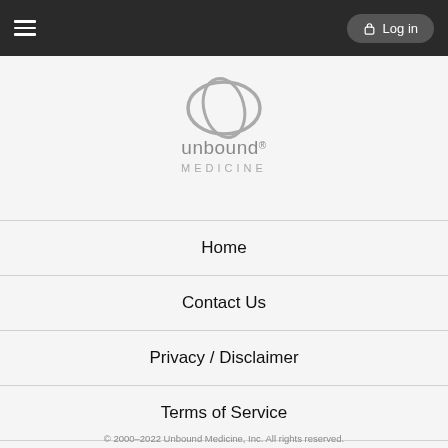Log in
[Figure (logo): Unbound Medicine logo — stylized oval ellipse icon above the text 'unbound MEDICINE' in gray]
Home
Contact Us
Privacy / Disclaimer
Terms of Service
Log in
© 2000–2022 Unbound Medicine, Inc. All rights reserved.